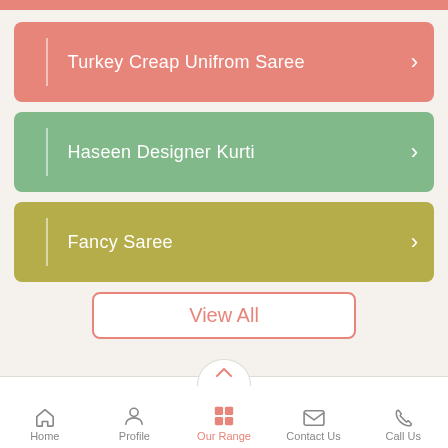Turkey Creap Unifrom Saree
Haseen Designer Kurti
Fancy Saree
View All
Home | Profile | Our Range | Contact Us | Call Us